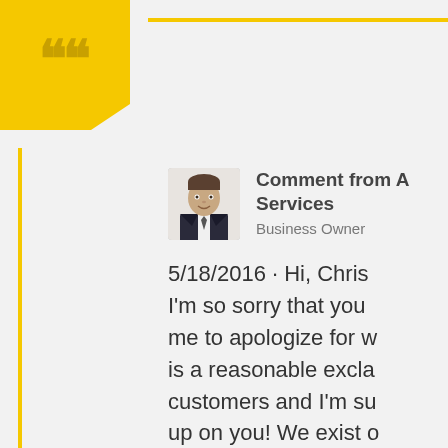[Figure (screenshot): Yelp business owner comment screenshot with yellow quotation mark decoration, profile photo of a man in a suit, commenter name 'Comment from A... Services', role 'Business Owner', and review response text starting '5/18/2016 · Hi, Chris... I'm so sorry that you... me to apologize for w... is a reasonable excla... customers and I'm su... up on you! We exist o... anyway I could help y...']
Comment from A... Services
Business Owner
5/18/2016 · Hi, Chris... I'm so sorry that you... me to apologize for w... is a reasonable excla... customers and I'm su... up on you! We exist o... anyway I could help y...